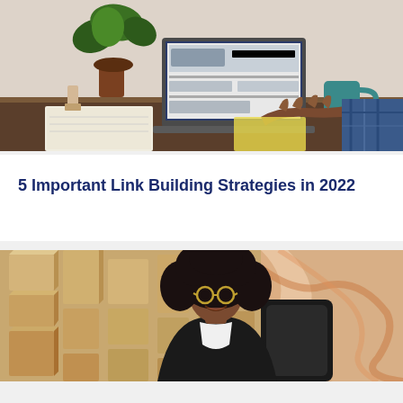[Figure (photo): Person working at a laptop on a desk with a plant, globe, and teal mug in the background. A hand in a plaid shirt is typing on the laptop which shows a website.]
5 Important Link Building Strategies in 2022
[Figure (photo): A smiling woman with natural afro hair wearing glasses and a black blazer, seated in an office chair in front of a decorative wood panel wall and a marbled painting.]